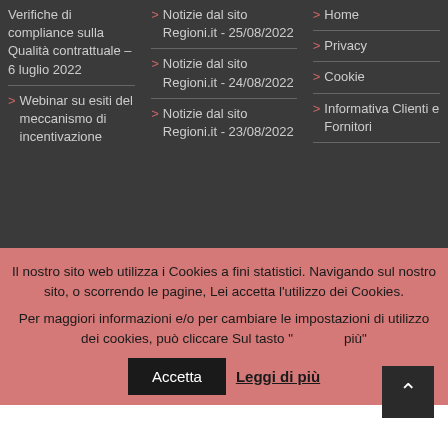Verifiche di compliance sulla Qualità contrattuale – 6 luglio 2022
Webinar su esiti del meccanismo di incentivazione
Notizie dal sito Regioni.it - 25/08/2022
Notizie dal sito Regioni.it - 24/08/2022
Notizie dal sito Regioni.it - 23/08/2022
Home
Privacy
Cookie
Informativa Clienti e Fornitori
Il nostro sito web utilizza i Cookies a fini statistici. Navigando sul nostro sito, o scorrendo le pagine, Lei accetta l'utilizzo dei Cookies.
Per maggiori informazioni e/o per cambiare le impostazioni di utilizzo dei cookies, può cliccare Sul tasto "... di più"
Accetta
Leggi di più